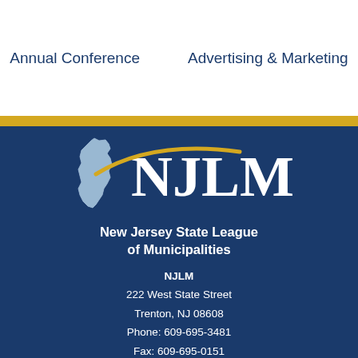Annual Conference    Advertising & Marketing
[Figure (logo): NJLM logo with New Jersey state map silhouette, gold swoosh, and NJLM letters on dark blue background]
New Jersey State League of Municipalities
NJLM
222 West State Street
Trenton, NJ 08608
Phone: 609-695-3481
Fax: 609-695-0151